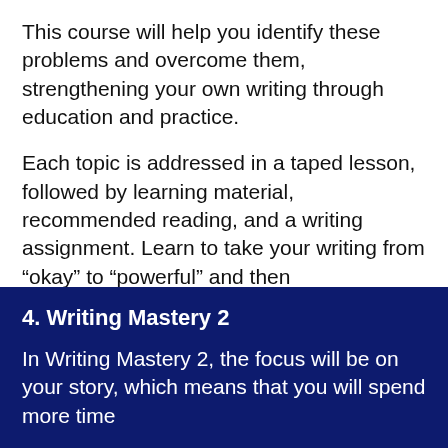This course will help you identify these problems and overcome them, strengthening your own writing through education and practice.
Each topic is addressed in a taped lesson, followed by learning material, recommended reading, and a writing assignment. Learn to take your writing from “okay” to “powerful” and then “mesmerizing” in this first Writing Mastery course.
View Full Course Description
4. Writing Mastery 2
In Writing Mastery 2, the focus will be on your story, which means that you will spend more time